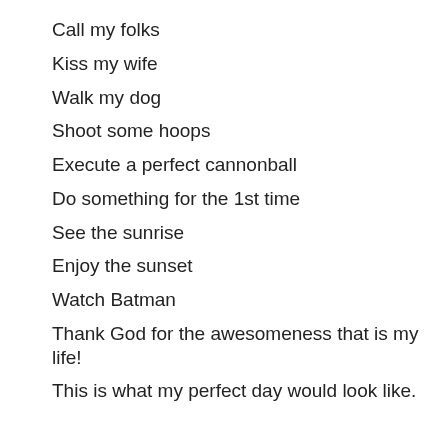Call my folks
Kiss my wife
Walk my dog
Shoot some hoops
Execute a perfect cannonball
Do something for the 1st time
See the sunrise
Enjoy the sunset
Watch Batman
Thank God for the awesomeness that is my life!
This is what my perfect day would look like.